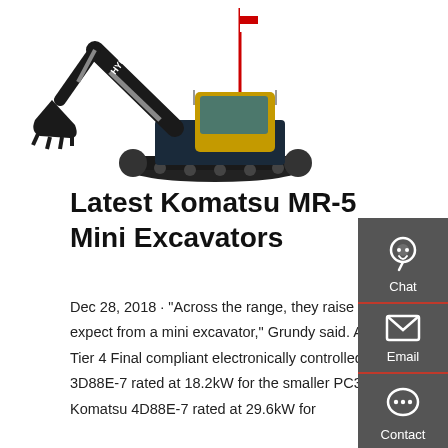[Figure (photo): Hyundai excavator shown from the side with boom extended, dark blue/black with yellow cab, on tracked undercarriage against white background.]
Latest Komatsu MR-5 Mini Excavators
Dec 28, 2018 · "Across the range, they raise the bar in terms of what customers can expect from a mini excavator," Grundy said. All four new machines feature US EPA Tier 4 Final compliant electronically controlled engines with either the Komatsu 3D88E-7 rated at 18.2kW for the smaller PC30MR-5 and PC35MR-5 or the Komatsu 4D88E-7 rated at 29.6kW for